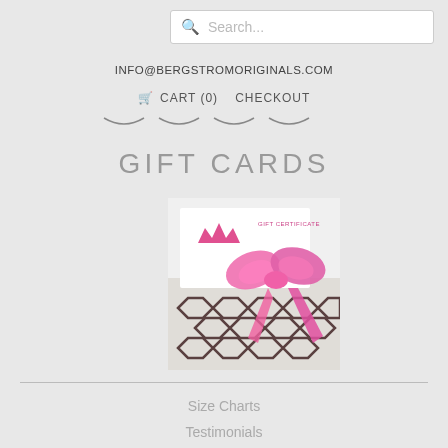Search...
INFO@BERGSTROMORIGINALS.COM
CART (0)  CHECKOUT
GIFT CARDS
[Figure (photo): Gift certificate card tied with a pink ribbon bow, placed on a geometric patterned surface]
Size Charts
Testimonials
Ordering Info.